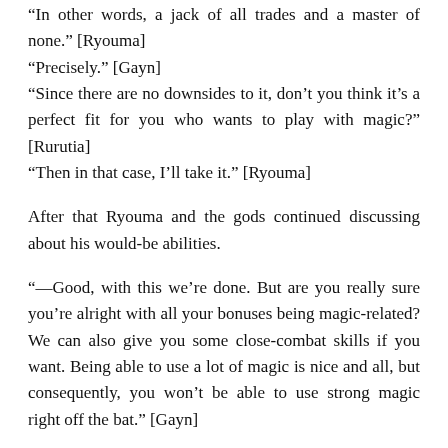“In other words, a jack of all trades and a master of none.” [Ryouma]
“Precisely.” [Gayn]
“Since there are no downsides to it, don’t you think it’s a perfect fit for you who wants to play with magic?” [Rurutia]
“Then in that case, I’ll take it.” [Ryouma]
After that Ryouma and the gods continued discussing about his would-be abilities.
“—Good, with this we’re done. But are you really sure you’re alright with all your bonuses being magic-related? We can also give you some close-combat skills if you want. Being able to use a lot of magic is nice and all, but consequently, you won’t be able to use strong magic right off the bat.” [Gayn]